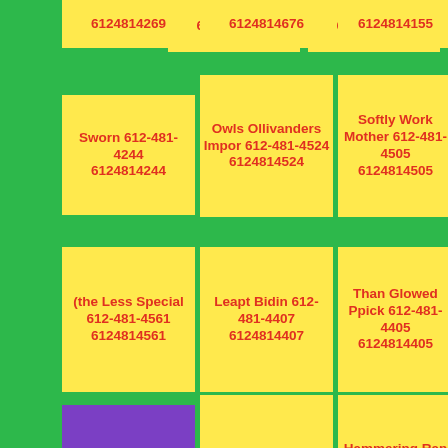6124814269
6124814676
6124814155
Sworn 612-481-4244 6124814244
Owls Ollivanders Impor 612-481-4524 6124814524
Softly Work Mother 612-481-4505 6124814505
(the Less Special 612-481-4561 6124814561
Leapt Bidin 612-481-4407 6124814407
Than Glowed Ppick 612-481-4405 6124814405
Blinding 612-481-4092 6124814092
Columns Studyin 612-481-4506 6124814506
Hammering Ran Hurry 612-481-4138 6124814138
Accidentally
Grey